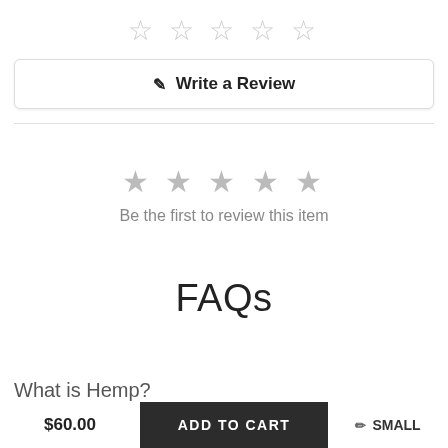[Figure (other): Five empty star rating icons displayed at the top of the page in light gray]
[Figure (other): Write a Review button with pencil/edit icon]
[Figure (other): Five filled star rating icons in gray with text 'Be the first to review this item']
Be the first to review this item
FAQs
What is Hemp?
$60.00   ADD TO CART   SMALL